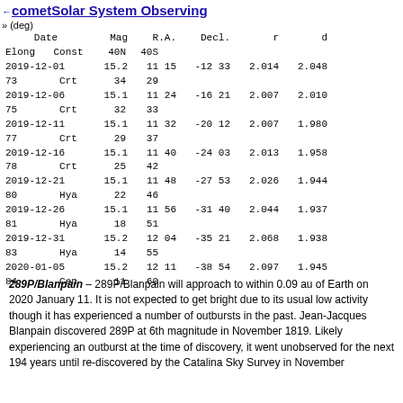comet Solar System Observing
» (deg)
| Date | Mag | R.A. | Decl. | r | d | Elong | Const | 40N | 40S |
| --- | --- | --- | --- | --- | --- | --- | --- | --- | --- |
| 2019-12-01 | 15.2 | 11 15 | -12 33 | 2.014 | 2.048 | 73 | Crt | 34 | 29 |
| 2019-12-06 | 15.1 | 11 24 | -16 21 | 2.007 | 2.010 | 75 | Crt | 32 | 33 |
| 2019-12-11 | 15.1 | 11 32 | -20 12 | 2.007 | 1.980 | 77 | Crt | 29 | 37 |
| 2019-12-16 | 15.1 | 11 40 | -24 03 | 2.013 | 1.958 | 78 | Crt | 25 | 42 |
| 2019-12-21 | 15.1 | 11 48 | -27 53 | 2.026 | 1.944 | 80 | Hya | 22 | 46 |
| 2019-12-26 | 15.1 | 11 56 | -31 40 | 2.044 | 1.937 | 81 | Hya | 18 | 51 |
| 2019-12-31 | 15.2 | 12 04 | -35 21 | 2.068 | 1.938 | 83 | Hya | 14 | 55 |
| 2020-01-05 | 15.2 | 12 11 | -38 54 | 2.097 | 1.945 | 84 | Cen | 11 | 60 |
289P/Blanpain – 289P/Blanpain will approach to within 0.09 au of Earth on 2020 January 11. It is not expected to get bright due to its usual low activity though it has experienced a number of outbursts in the past. Jean-Jacques Blanpain discovered 289P at 6th magnitude in November 1819. Likely experiencing an outburst at the time of discovery, it went unobserved for the next 194 years until re-discovered by the Catalina Sky Survey in November